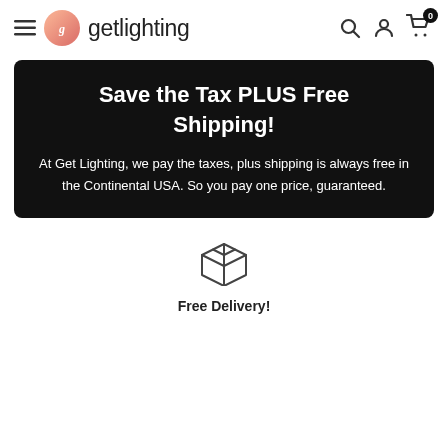getlighting — navigation header with hamburger menu, logo, search, account, and cart icons
[Figure (screenshot): Black promotional banner with white text: 'Save the Tax PLUS Free Shipping!' headline and body text about Get Lighting paying taxes and free shipping in Continental USA.]
[Figure (illustration): Package/box delivery icon (outline style)]
Free Delivery!